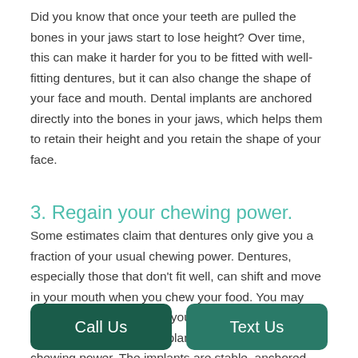Did you know that once your teeth are pulled the bones in your jaws start to lose height? Over time, this can make it harder for you to be fitted with well-fitting dentures, but it can also change the shape of your face and mouth. Dental implants are anchored directly into the bones in your jaws, which helps them to retain their height and you retain the shape of your face.
3. Regain your chewing power.
Some estimates claim that dentures only give you a fraction of your usual chewing power. Dentures, especially those that don't fit well, can shift and move in your mouth when you chew your food. You may even find there are foods you simply cannot eat. On the other hand, dental implants restore both biting and chewing power. The implants are stable, anchored into the jawline, which means t le y